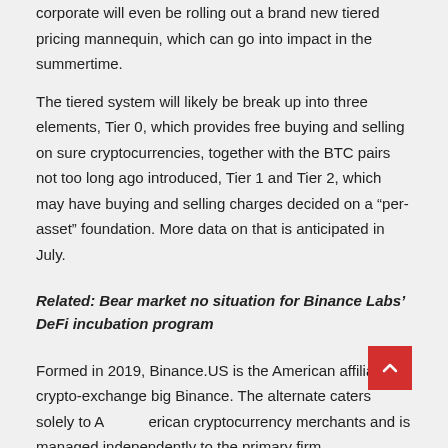corporate will even be rolling out a brand new tiered pricing mannequin, which can go into impact in the summertime.
The tiered system will likely be break up into three elements, Tier 0, which provides free buying and selling on sure cryptocurrencies, together with the BTC pairs not too long ago introduced, Tier 1 and Tier 2, which may have buying and selling charges decided on a “per-asset” foundation. More data on that is anticipated in July.
Related: Bear market no situation for Binance Labs’ DeFi incubation program
Formed in 2019, Binance.US is the American affiliate of crypto-exchange big Binance. The alternate caters solely to American cryptocurrency merchants and is managed independently to the primary firm.